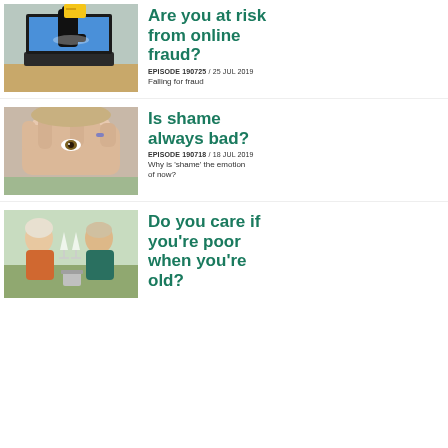[Figure (photo): Black gloved hand reaching through a laptop screen stealing a credit card]
Are you at risk from online fraud?
EPISODE 190725 / 25 JUL 2019
Falling for fraud
[Figure (photo): Person hiding face behind hands, peering through fingers]
Is shame always bad?
EPISODE 190718 / 18 JUL 2019
Why is 'shame' the emotion of now?
[Figure (photo): Two elderly people toasting with champagne glasses outdoors]
Do you care if you're poor when you're old?